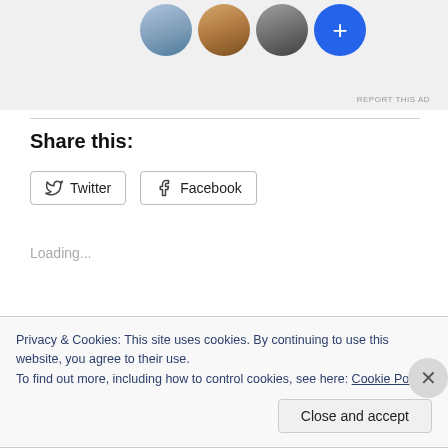[Figure (screenshot): Ad banner with profile avatars (three person photos and a blue plus button) on a light gray background, with 'REPORT THIS AD' text in small caps at bottom right.]
Share this:
Twitter  Facebook
Loading...
Privacy & Cookies: This site uses cookies. By continuing to use this website, you agree to their use.
To find out more, including how to control cookies, see here: Cookie Policy
Close and accept